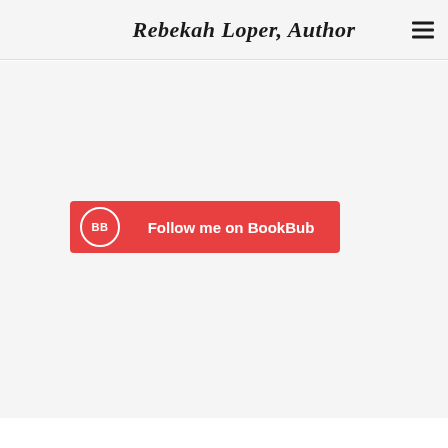Rebekah Loper, Author
[Figure (other): BookBub follow button: red rounded rectangle with BB logo circle on left and text 'Follow me on BookBub' in white]